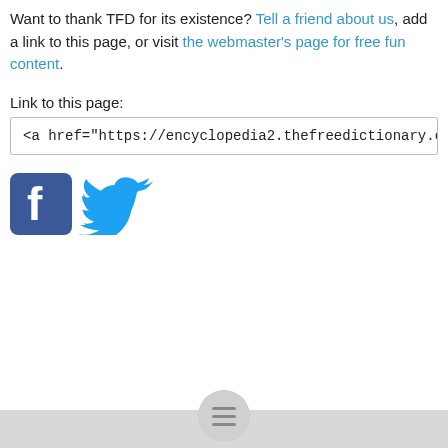Want to thank TFD for its existence? Tell a friend about us, add a link to this page, or visit the webmaster's page for free fun content.
Link to this page:
<a href="https://encyclopedia2.thefreedictionary.com/alienist">psychiatris
[Figure (logo): Facebook and Twitter social media icons]